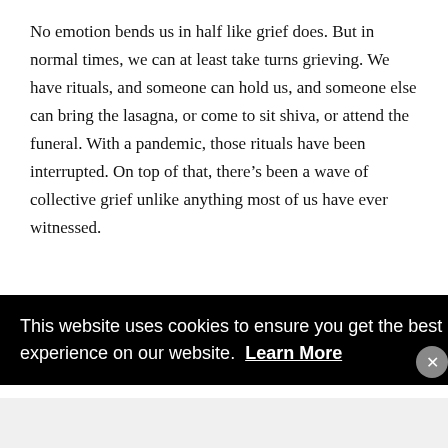No emotion bends us in half like grief does. But in normal times, we can at least take turns grieving. We have rituals, and someone can hold us, and someone else can bring the lasagna, or come to sit shiva, or attend the funeral. With a pandemic, those rituals have been interrupted. On top of that, there’s been a wave of collective grief unlike anything most of us have ever witnessed.
This website uses cookies to ensure you get the best experience on our website. Learn More